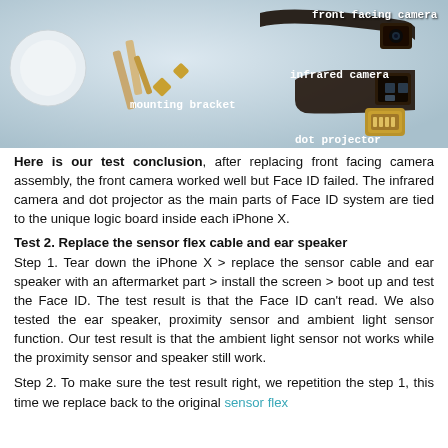[Figure (photo): Disassembled iPhone X front camera assembly components laid out on a white surface, showing the front facing camera, infrared camera, dot projector, and mounting bracket. Labels are overlaid on the image identifying each component.]
Here is our test conclusion, after replacing front facing camera assembly, the front camera worked well but Face ID failed. The infrared camera and dot projector as the main parts of Face ID system are tied to the unique logic board inside each iPhone X.
Test 2. Replace the sensor flex cable and ear speaker
Step 1. Tear down the iPhone X > replace the sensor cable and ear speaker with an aftermarket part > install the screen > boot up and test the Face ID. The test result is that the Face ID can't read. We also tested the ear speaker, proximity sensor and ambient light sensor function. Our test result is that the ambient light sensor not works while the proximity sensor and speaker still work.
Step 2. To make sure the test result right, we repetition the step 1, this time we replace back to the original sensor flex